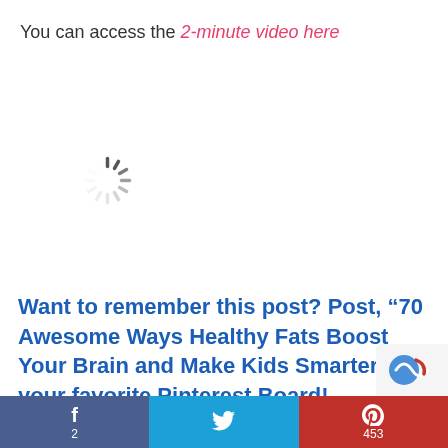You can access the 2-minute video here
[Figure (other): Loading spinner / throbber icon]
Want to remember this post? Post, “70 Awesome Ways Healthy Fats Boost Your Brain and Make Kids Smarter” to your favorite Pinterest Board!
f 2  [Twitter bird icon]  P 453